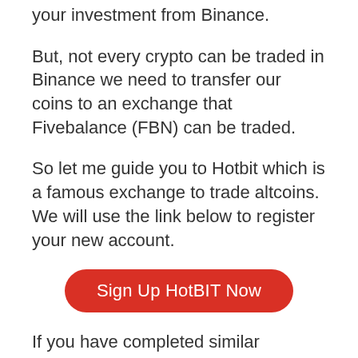your investment from Binance.
But, not every crypto can be traded in Binance we need to transfer our coins to an exchange that Fivebalance (FBN) can be traded.
So let me guide you to Hotbit which is a famous exchange to trade altcoins. We will use the link below to register your new account.
[Figure (other): Red rounded button with white text reading 'Sign Up HotBIT Now']
If you have completed similar processes as we've done before with Binance you are ready to transfer your Bitcoins.